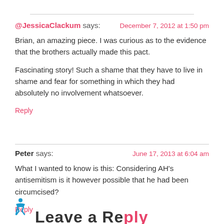@JessicaClackum says:  December 7, 2012 at 1:50 pm
Brian, an amazing piece. I was curious as to the evidence that the brothers actually made this pact.

Fascinating story! Such a shame that they have to live in shame and fear for something in which they had absolutely no involvement whatsoever.
Reply
Peter says:  June 17, 2013 at 6:04 am
What I wanted to know is this: Considering AH's antisemitism is it however possible that he had been circumcised?
Reply